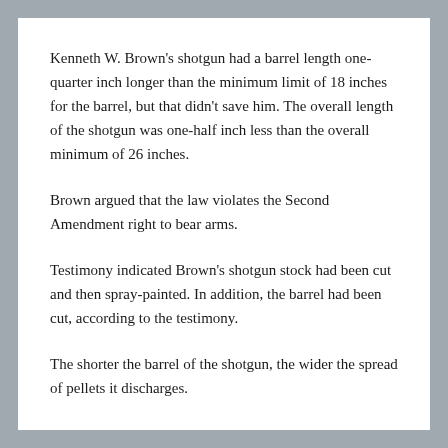Kenneth W. Brown's shotgun had a barrel length one-quarter inch longer than the minimum limit of 18 inches for the barrel, but that didn't save him.  The overall length of the shotgun was one-half inch less than the overall minimum of 26 inches.
Brown argued that the law violates the Second Amendment right to bear arms.
Testimony indicated Brown's shotgun stock had been cut and then spray-painted.  In addition, the barrel had been cut, according to the testimony.
The shorter the barrel of the shotgun, the wider the spread of pellets it discharges.